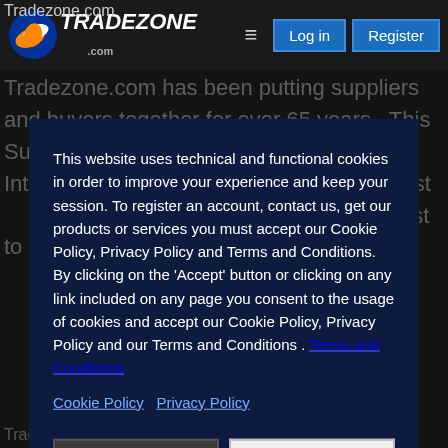Tradezone.com
[Figure (logo): Tradezone.com logo with swoosh icon and TRADEZONE .com text, Log in and Register buttons]
Tradezone.com has been putting suppliers and buyers together for over 65 years. This Suppliers Directory focuses on promoting International Trade. You are welcome to list your products and services with us. We will do our best to
This website uses technical and functional cookies in order to improve your experience and keep your session. To register an account, contact us, get our products or services you must accept our Cookie Policy, Privacy Policy and Terms and Conditions. By clicking on the 'Accept' button or clicking on any link included on any page you consent to the usage of cookies and accept our Cookie Policy, Privacy Policy and our Terms and Conditions . Terms and Conditions
Cookie Policy  Privacy Policy
Decline  Accept